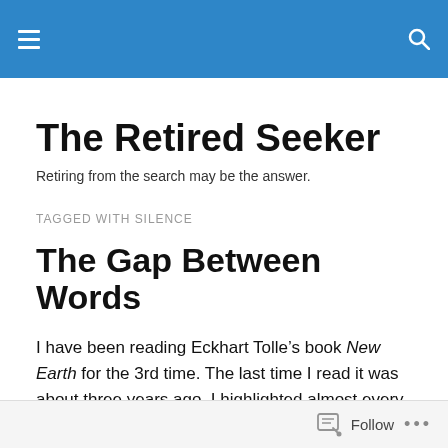The Retired Seeker — navigation header bar
The Retired Seeker
Retiring from the search may be the answer.
TAGGED WITH SILENCE
The Gap Between Words
I have been reading Eckhart Tolle’s book New Earth for the 3rd time. The last time I read it was about three years ago, I highlighted almost every line and a subtle shift in perception happened.  This time I downloaded it on my
Follow •••